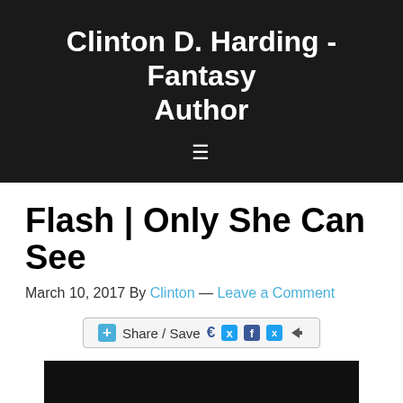Clinton D. Harding - Fantasy Author
Flash | Only She Can See
March 10, 2017 By Clinton — Leave a Comment
[Figure (other): Share / Save button bar with Facebook, Twitter, and share icons]
[Figure (photo): Black image area at the bottom of the page]